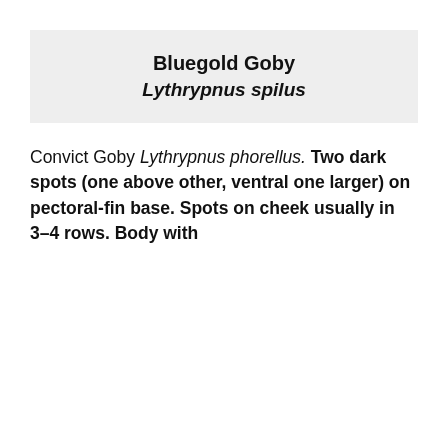Bluegold Goby
Lythrypnus spilus
Convict Goby Lythrypnus phorellus. Two dark spots (one above other, ventral one larger) on pectoral-fin base. Spots on cheek usually in 3–4 rows. Body with